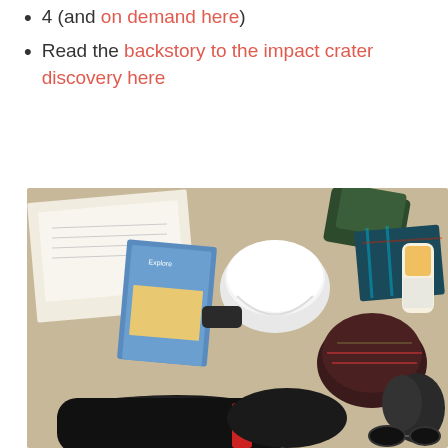4 (and on demand here)
Read the backstory to the impact crater discovery here
[Figure (photo): Overhead flat-lay photo on a woven mat showing outdoor/climbing gear: papers/documents, a guidebook, a white climbing helmet, a black jacket, gloves, a patterned winter hat, tartan fabric, sunscreen bottle, black climbing shoes, and other accessories.]